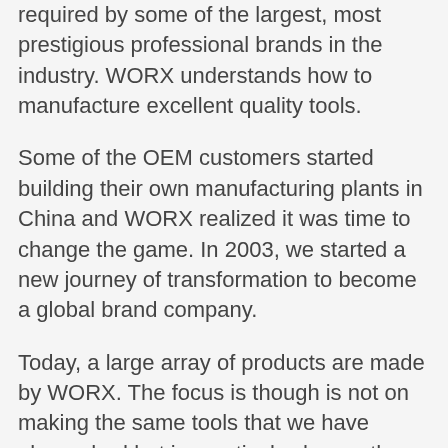required by some of the largest, most prestigious professional brands in the industry. WORX understands how to manufacture excellent quality tools.
Some of the OEM customers started building their own manufacturing plants in China and WORX realized it was time to change the game. In 2003, we started a new journey of transformation to become a global brand company.
Today, a large array of products are made by WORX. The focus is though is not on making the same tools that we have always had but innovatively change the tools we use in the future. Take for instance the WORX HydroShot. A cordless high-pressure washer designed for mobile cleaning from any clean water source. Or the Switch Driver with 2 chucks to drill and drive in a seamless process. Our favourite the AeroCart is a prime example of how a humble wheelbarrow can be re-engineered to offer a tool so versatile you will be amazed. Don't take our